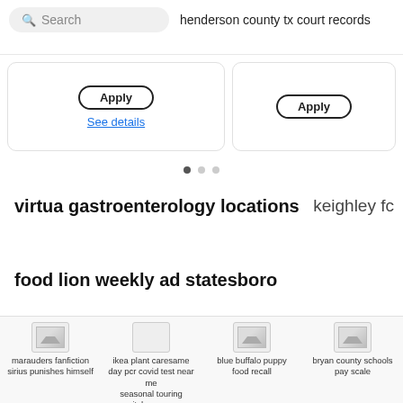Search   henderson county tx court records
[Figure (screenshot): Two card elements with Apply buttons and See details link, partially visible]
[Figure (other): Carousel dots indicator: three dots, first filled]
virtua gastroenterology locations   keighley fc
food lion weekly ad statesboro
landmark implement
[Figure (screenshot): Bottom navigation bar with thumbnail images and labels: marauders fanfiction sirius punishes himself, ikea plant caresame day pcr covid test near me seasonal touring pitches near, blue buffalo puppy food recall, bryan county schools pay scale]